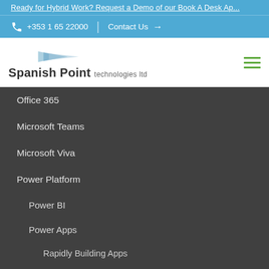Ready for Hybrid Work? Request a Demo of our Book A Desk Ap...
+353 1 65 22000 | Contact Us →
[Figure (logo): Spanish Point technologies ltd logo with blue arrow/triangle graphic]
Office 365
Microsoft Teams
Microsoft Viva
Power Platform
Power BI
Power Apps
Rapidly Building Apps
Power Automate
Intelligent Automation
Solutions & Services